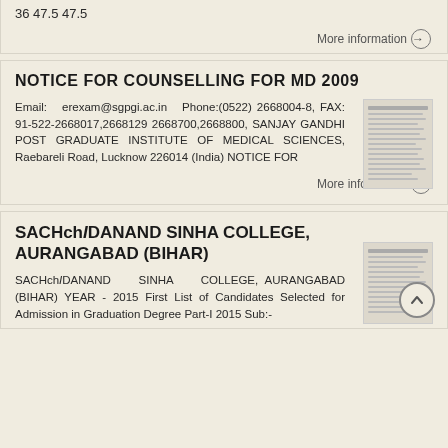36 47.5 47.5
More information →
NOTICE FOR COUNSELLING FOR MD 2009
Email: erexam@sgpgi.ac.in Phone:(0522) 2668004-8, FAX: 91-522-2668017,2668129 2668700,2668800, SANJAY GANDHI POST GRADUATE INSTITUTE OF MEDICAL SCIENCES, Raebareli Road, Lucknow 226014 (India) NOTICE FOR
More information →
SACHchIDANAND SINHA COLLEGE, AURANGABAD (BIHAR)
SACHchIDANAND SINHA COLLEGE, AURANGABAD (BIHAR) YEAR - 2015 First List of Candidates Selected for Admission in Graduation Degree Part-I 2015 Sub:-